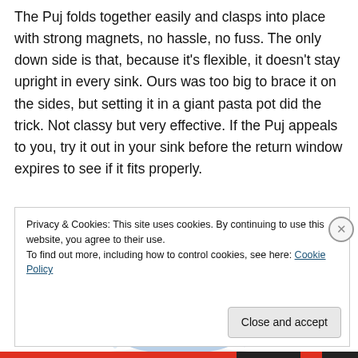The Puj folds together easily and clasps into place with strong magnets, no hassle, no fuss. The only down side is that, because it's flexible, it doesn't stay upright in every sink. Ours was too big to brace it on the sides, but setting it in a giant pasta pot did the trick. Not classy but very effective. If the Puj appeals to you, try it out in your sink before the return window expires to see if it fits properly.
[Figure (photo): A light blue baby bathtub (Puj tub) shown from slightly above, oval-shaped with smooth rounded edges.]
Privacy & Cookies: This site uses cookies. By continuing to use this website, you agree to their use.
To find out more, including how to control cookies, see here: Cookie Policy
Close and accept